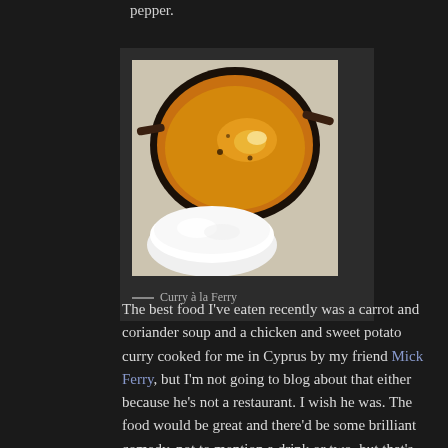pepper.
[Figure (photo): Overhead view of a curry dish in a dark wok/pan on a patterned tablecloth, alongside a white bowl of white rice]
— Curry à la Ferry
The best food I've eaten recently was a carrot and coriander soup and a chicken and sweet potato curry cooked for me in Cyprus by my friend Mick Ferry, but I'm not going to blog about that either because he's not a restaurant. I wish he was. The food would be great and there'd be some brilliant comedy, not to mention a drink or two, but that's maybe an idea for the future.